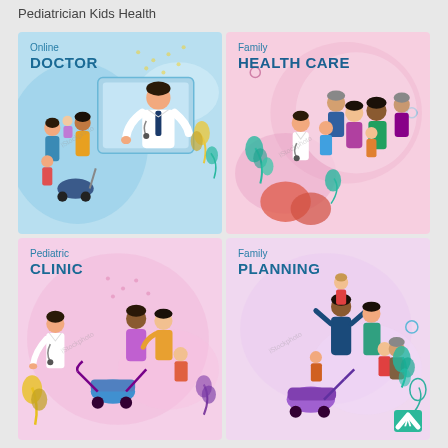Pediatrician Kids Health
[Figure (illustration): Online Doctor illustration: light blue background with a male doctor in white coat with stethoscope emerging from a screen/monitor, a family with children and a baby stroller in front. Text reads 'Online DOCTOR'. Decorative plant and geometric shapes.]
[Figure (illustration): Family Health Care illustration: light pink background with a doctor and a multigenerational family group (grandparents, parents, children). Text reads 'Family HEALTH CARE'. Decorative teal and red leaf shapes.]
[Figure (illustration): Pediatric Clinic illustration: light pink/peach background with a male doctor in white coat with stethoscope, a family with parents, a baby stroller, and a young child. Text reads 'Pediatric CLINIC'. Decorative yellow and purple plant shapes.]
[Figure (illustration): Family Planning illustration: light lavender background with a family group including parents (one carrying child on shoulders), a baby stroller, and other children. Text reads 'Family PLANNING'. Decorative teal leaf shapes.]